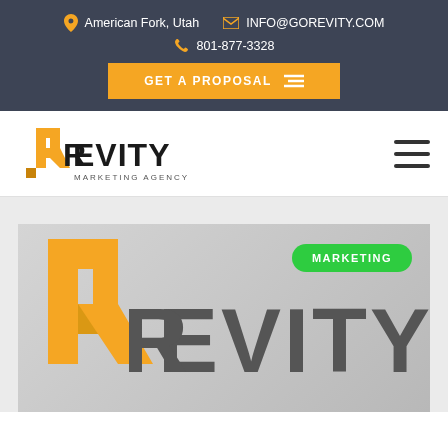American Fork, Utah   INFO@GOREVITY.COM   801-877-3328
GET A PROPOSAL
[Figure (logo): Revity Marketing Agency logo in nav bar — orange stylized R with EVITY text and 'MARKETING AGENCY' subtitle]
[Figure (logo): Large Revity logo on gray background — orange and tan stylized R on left, dark gray EVITY text on right, with MARKETING badge in green pill shape]